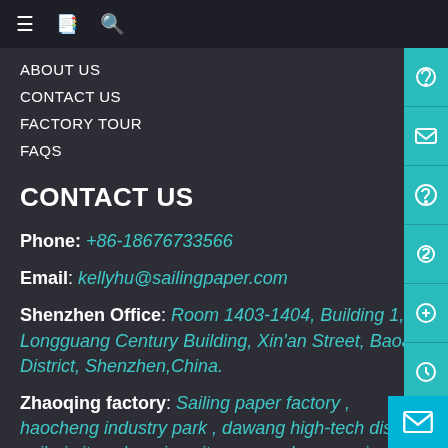≡  📋  🔍
ABOUT US
CONTACT US
FACTORY TOUR
FAQS
CONTACT US
Phone: +86-18676733566
Email: kellyhu@sailingpaper.com
Shenzhen Office: Room 1403-1404, Building 1, Longguang Century Building, Xin'an Street, Baoan District, Shenzhen,China.
Zhaoqing factory: Sailing paper factory , haocheng industry park , dawang high-tech district , sihui city , zhaoqing city , guangdong province , China 526238.